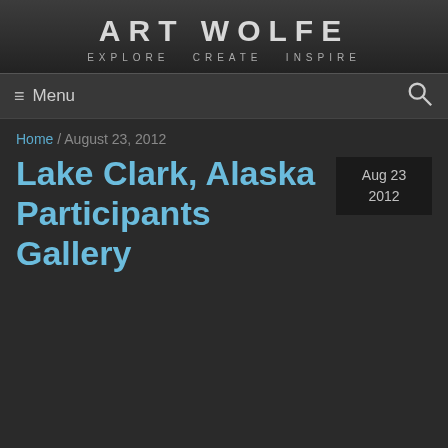ART WOLFE
EXPLORE  CREATE  INSPIRE
≡ Menu
Home / August 23, 2012
Lake Clark, Alaska Participants Gallery
Aug 23
2012